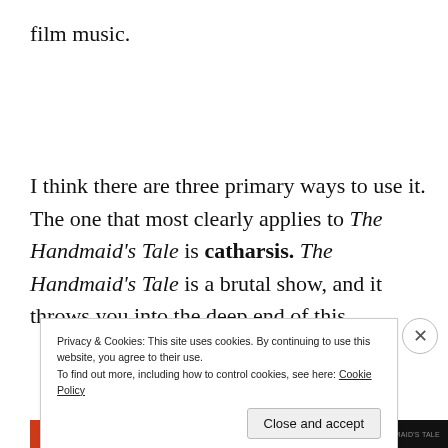film music.
I think there are three primary ways to use it. The one that most clearly applies to The Handmaid's Tale is catharsis. The Handmaid's Tale is a brutal show, and it throws you into the deep end of this
Privacy & Cookies: This site uses cookies. By continuing to use this website, you agree to their use.
To find out more, including how to control cookies, see here: Cookie Policy
Close and accept